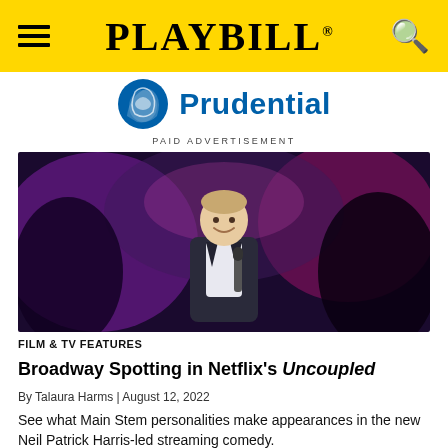PLAYBILL
[Figure (logo): Prudential logo with rock/shield icon and blue Prudential wordmark]
PAID ADVERTISEMENT
[Figure (photo): Neil Patrick Harris on stage holding a microphone, smiling, wearing a dark suit, with colorful stage lighting behind him]
FILM & TV FEATURES
Broadway Spotting in Netflix's Uncoupled
By Talaura Harms | August 12, 2022
See what Main Stem personalities make appearances in the new Neil Patrick Harris-led streaming comedy.